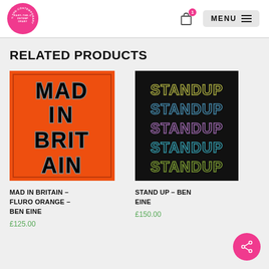RARY-THE-CONTEMPORARY (logo) | Cart (1) | MENU
RELATED PRODUCTS
[Figure (photo): Art print showing 'MAD IN BRITAIN' text in bold black letters on bright orange background]
MAD IN BRITAIN – FLURO ORANGE – BEN EINE
£125.00
[Figure (photo): Art print showing 'STANDUP' text repeated 5 times in multicolored graffiti-style letters on black background]
STAND UP – BEN EINE
£150.00